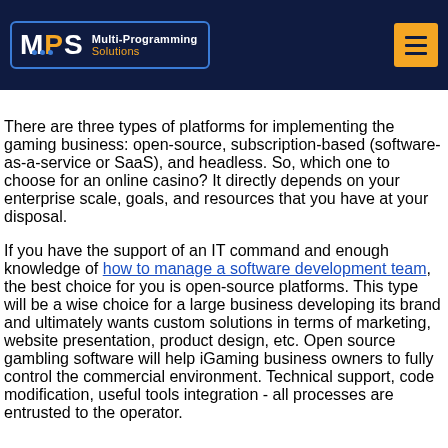MPS Multi-Programming Solutions
There are three types of platforms for implementing the gaming business: open-source, subscription-based (software-as-a-service or SaaS), and headless. So, which one to choose for an online casino? It directly depends on your enterprise scale, goals, and resources that you have at your disposal.
If you have the support of an IT command and enough knowledge of how to manage a software development team, the best choice for you is open-source platforms. This type will be a wise choice for a large business developing its brand and ultimately wants custom solutions in terms of marketing, website presentation, product design, etc. Open source gambling software will help iGaming business owners to fully control the commercial environment. Technical support, code modification, useful tools integration - all processes are entrusted to the operator.